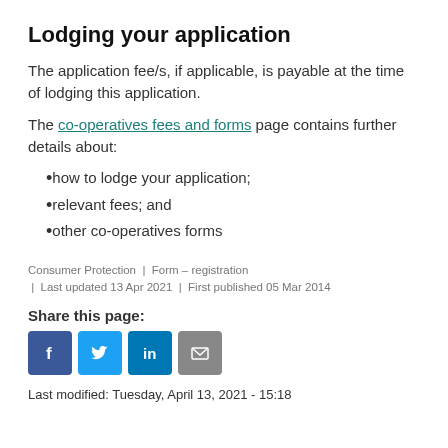Lodging your application
The application fee/s, if applicable, is payable at the time of lodging this application.
The co-operatives fees and forms page contains further details about:
how to lodge your application;
relevant fees; and
other co-operatives forms
Consumer Protection | Form – registration | Last updated 13 Apr 2021 | First published 05 Mar 2014
Share this page:
[Figure (infographic): Social media share icons: Facebook (blue), Twitter (blue), LinkedIn (blue), Email (grey)]
Last modified: Tuesday, April 13, 2021 - 15:18